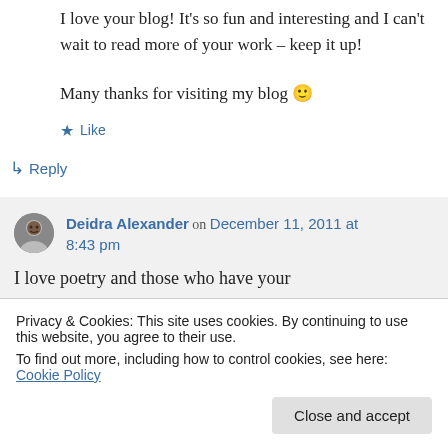I love your blog! It's so fun and interesting and I can't wait to read more of your work – keep it up!
Many thanks for visiting my blog 🙂
★ Like
↳ Reply
Deidra Alexander on December 11, 2011 at 8:43 pm
I love poetry and those who have your
Privacy & Cookies: This site uses cookies. By continuing to use this website, you agree to their use.
To find out more, including how to control cookies, see here: Cookie Policy
Close and accept